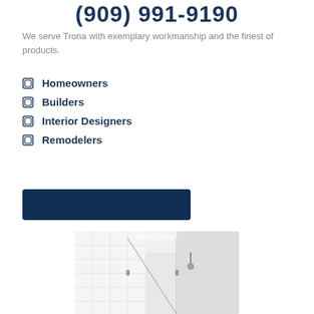(909) 991-9190
We serve Trona with exemplary workmanship and the finest of products.
Homeowners
Builders
Interior Designers
Remodelers
[Figure (other): Dark navy blue CTA button rectangle]
[Figure (photo): Photo of a modern glass shower enclosure with white tile walls and a frameless glass panel corner installation]